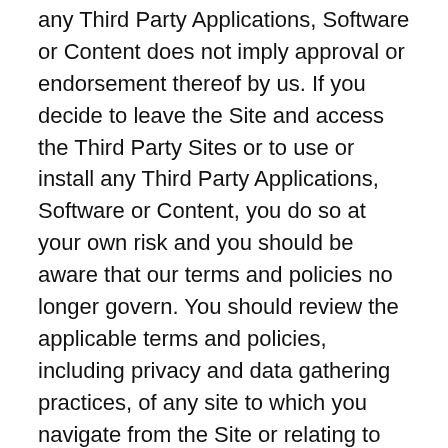any Third Party Applications, Software or Content does not imply approval or endorsement thereof by us. If you decide to leave the Site and access the Third Party Sites or to use or install any Third Party Applications, Software or Content, you do so at your own risk and you should be aware that our terms and policies no longer govern. You should review the applicable terms and policies, including privacy and data gathering practices, of any site to which you navigate from the Site or relating to any applications you use or install from the site.
Share Service
Company offers a feature whereby users of the Site can share with others or post to their own